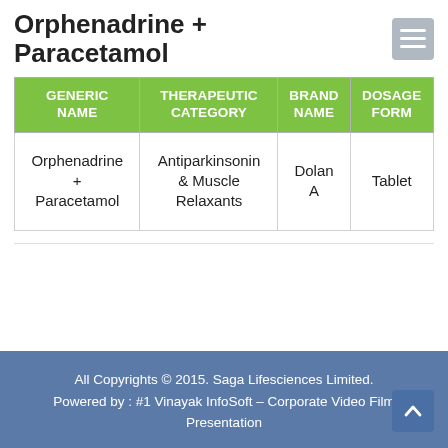Orphenadrine + Paracetamol
| GENERIC NAME | THERAPEUTIC CATEGORY | BRAND NAME | DOSAGE FORM |
| --- | --- | --- | --- |
| Orphenadrine + Paracetamol | Antiparkinsonin & Muscle Relaxants | Dolan A | Tablet |
All Copyrights © 2015. Saga Lifesciences Limited. Powered by : #1 Vinayak InfoSoft – Corporate Video Film Presentation